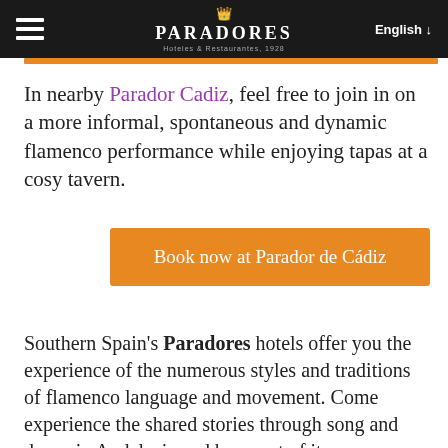Paradores Hotels & Restaurants 1928 | English
In nearby Parador Cadiz, feel free to join in on a more informal, spontaneous and dynamic flamenco performance while enjoying tapas at a cosy tavern.
Book now at Parador de Cádiz
Southern Spain's Paradores hotels offer you the experience of the numerous styles and traditions of flamenco language and movement. Come experience the shared stories through song and dance in Andalusia and be a part of its memory.